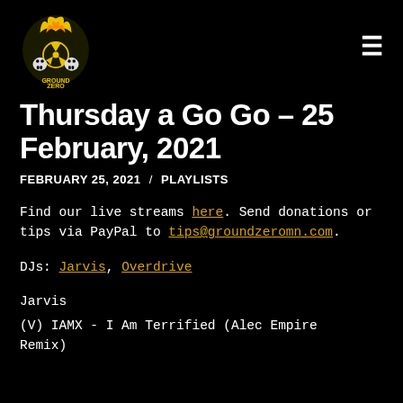Ground Zero logo and navigation menu
Thursday a Go Go – 25 February, 2021
FEBRUARY 25, 2021 / PLAYLISTS
Find our live streams here. Send donations or tips via PayPal to tips@groundzeromn.com.
DJs: Jarvis, Overdrive
Jarvis
(V) IAMX – I Am Terrified (Alec Empire Remix)